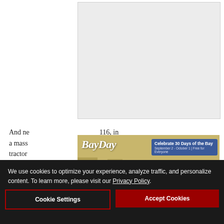[Figure (other): Grey advertisement placeholder rectangle in upper right area of page]
And ne... 116, in a mass... as a tractor... is its
[Figure (other): BayDay advertisement banner showing kayaker in marsh waterway. Text: 'BayDay' logo with 'Celebrate 30 Days of the Bay' box reading 'September 2 - October 1 | Free for Everyone']
We use cookies to optimize your experience, analyze traffic, and personalize content. To learn more, please visit our Privacy Policy.
Cookie Settings
Accept Cookies